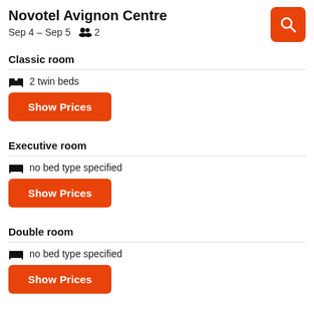Novotel Avignon Centre
Sep 4 – Sep 5   2
Classic room
2 twin beds
Show Prices
Executive room
no bed type specified
Show Prices
Double room
no bed type specified
Show Prices